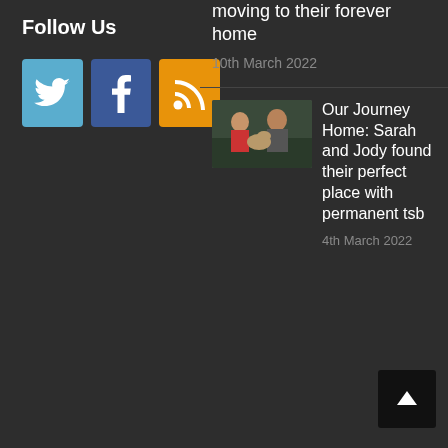Follow Us
[Figure (infographic): Three social media icon buttons: Twitter (blue bird icon), Facebook (blue f icon), RSS (orange RSS feed icon)]
... moving to their forever home
10th March 2022
[Figure (photo): A family sitting on a sofa - woman in red top, man, and a dog]
Our Journey Home: Sarah and Jody found their perfect place with permanent tsb
4th March 2022